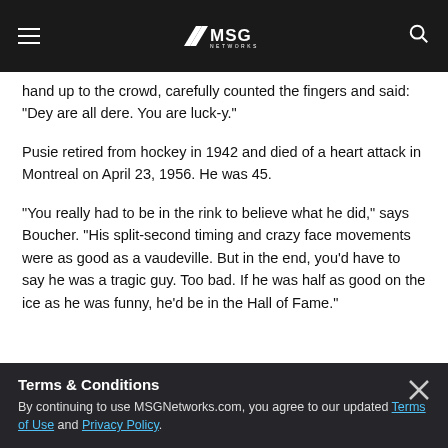MSG Networks
hand up to the crowd, carefully counted the fingers and said: 'Dey are all dere. You are luck-y.'
Pusie retired from hockey in 1942 and died of a heart attack in Montreal on April 23, 1956. He was 45.
“You really had to be in the rink to believe what he did,” says Boucher. “His split-second timing and crazy face movements were as good as a vaudeville. But in the end, you’d have to say he was a tragic guy. Too bad. If he was half as good on the ice as he was funny, he’d be in the Hall of Fame.”
7 DON RALEIGH
Terms & Conditions
By continuing to use MSGNetworks.com, you agree to our updated Terms of Use and Privacy Policy.